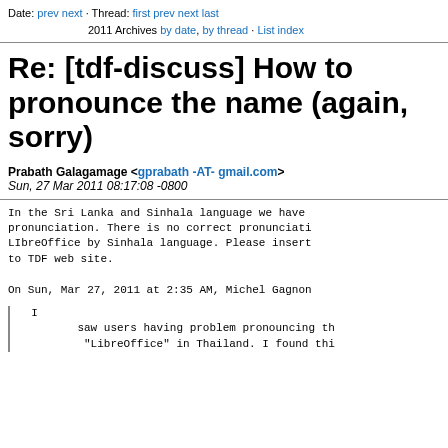Date: prev next · Thread: first prev next last
2011 Archives by date, by thread · List index
Re: [tdf-discuss] How to pronounce the name (again, sorry)
Prabath Galagamage <gprabath -AT- gmail.com>
Sun, 27 Mar 2011 08:17:08 -0800
In the Sri Lanka and Sinhala language we have pronunciation. There is no correct pronunciati LIbreOffice by Sinhala language. Please insert to TDF web site.

On Sun, Mar 27, 2011 at 2:35 AM, Michel Gagnon
I
     saw users having problem pronouncing th
      "LibreOffice" in Thailand. I found thi